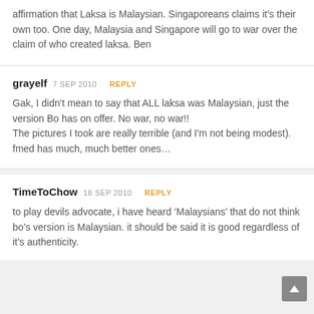affirmation that Laksa is Malaysian. Singaporeans claims it's their own too. One day, Malaysia and Singapore will go to war over the claim of who created laksa. Ben
grayelf 7 SEP 2010 REPLY
Gak, I didn't mean to say that ALL laksa was Malaysian, just the version Bo has on offer. No war, no war!!
The pictures I took are really terrible (and I'm not being modest). fmed has much, much better ones…
TimeToChow 18 SEP 2010 REPLY
to play devils advocate, i have heard 'Malaysians' that do not think bo's version is Malaysian. it should be said it is good regardless of it's authenticity.